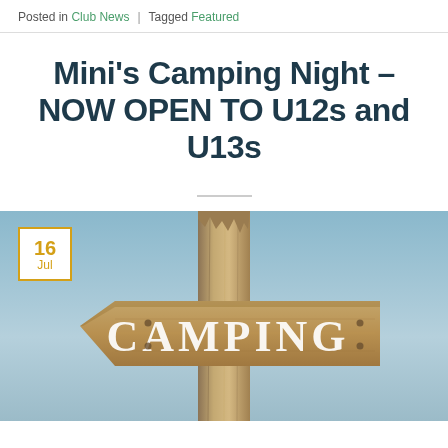Posted in Club News | Tagged Featured
Mini's Camping Night – NOW OPEN TO U12s and U13s
[Figure (photo): A wooden directional camping sign nailed to a rough wooden post against a blue sky, with 'CAMPING' written in white letters on the sign. A yellow-bordered date badge showing '16 Jul' appears in the top-left corner of the image.]